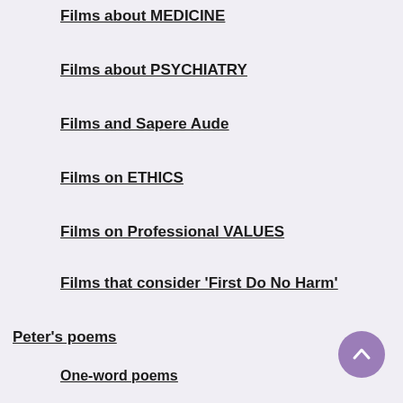Films about MEDICINE
Films about PSYCHIATRY
Films and Sapere Aude
Films on ETHICS
Films on Professional VALUES
Films that consider 'First Do No Harm'
Peter's poems
One-word poems
Publications in the “Leopard”
The Ageing Stone